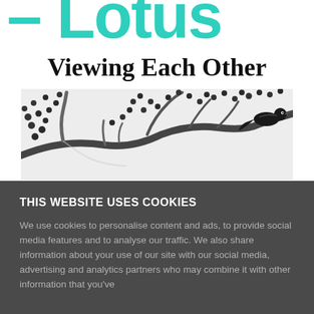Lotus
Viewing Each Other
[Figure (illustration): Black and white ink illustration showing a tree branch with berries or seeds, and a bird, in traditional East Asian brush painting style.]
THIS WEBSITE USES COOKIES
We use cookies to personalise content and ads, to provide social media features and to analyse our traffic. We also share information about your use of our site with our social media, advertising and analytics partners who may combine it with other information that you've...